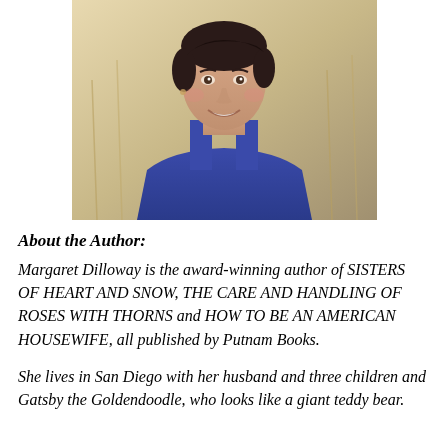[Figure (photo): Headshot photo of author Margaret Dilloway, a woman with short dark hair wearing a blue top, photographed outdoors against a golden field background.]
About the Author:
Margaret Dilloway is the award-winning author of SISTERS OF HEART AND SNOW, THE CARE AND HANDLING OF ROSES WITH THORNS and HOW TO BE AN AMERICAN HOUSEWIFE, all published by Putnam Books.
She lives in San Diego with her husband and three children and Gatsby the Goldendoodle, who looks like a giant teddy bear.